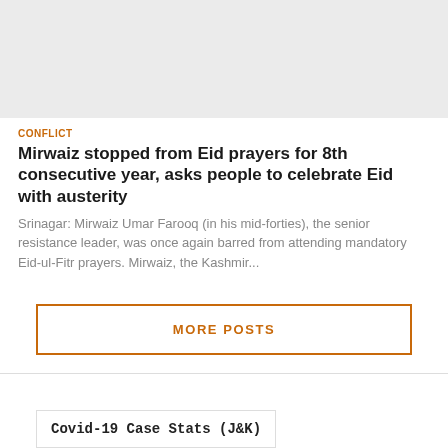[Figure (photo): Gray placeholder image at the top of the article card]
CONFLICT
Mirwaiz stopped from Eid prayers for 8th consecutive year, asks people to celebrate Eid with austerity
Srinagar: Mirwaiz Umar Farooq (in his mid-forties), the senior resistance leader, was once again barred from attending mandatory Eid-ul-Fitr prayers. Mirwaiz, the Kashmir...
MORE POSTS
Covid-19 Case Stats (J&K)